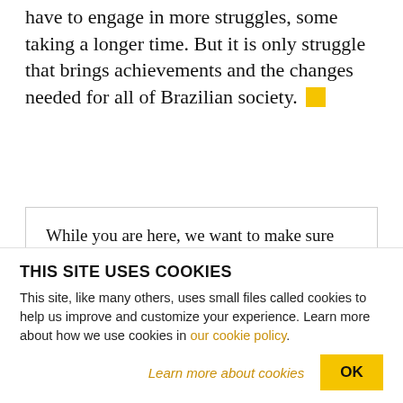have to engage in more struggles, some taking a longer time. But it is only struggle that brings achievements and the changes needed for all of Brazilian society. [yellow square]
While you are here, we want to make sure you know how vital the support of people like you is to our work.

Uncompromising and relentlessly critical journalism that gets to the roots of the crises we...
THIS SITE USES COOKIES
This site, like many others, uses small files called cookies to help us improve and customize your experience. Learn more about how we use cookies in our cookie policy.
Learn more about cookies